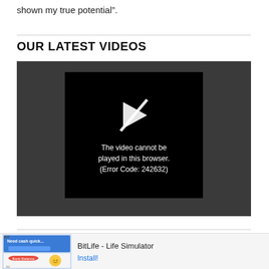shown my true potential”.
OUR LATEST VIDEOS
[Figure (screenshot): Video player showing error message: The video cannot be played in this browser. (Error Code: 242632)]
[Figure (other): Advertisement banner for BitLife - Life Simulator app with Install button]